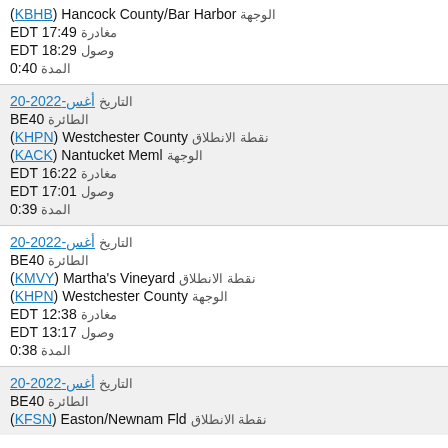الوجهة (KBHB) Hancock County/Bar Harbor
مغادرة EDT 17:49
وصول EDT 18:29
المدة 0:40
التاريخ 20-أغس-2022
الطائرة BE40
نقطة الانطلاق (KHPN) Westchester County
الوجهة (KACK) Nantucket Meml
مغادرة EDT 16:22
وصول EDT 17:01
المدة 0:39
التاريخ 20-أغس-2022
الطائرة BE40
نقطة الانطلاق (KMVY) Martha's Vineyard
الوجهة (KHPN) Westchester County
مغادرة EDT 12:38
وصول EDT 13:17
المدة 0:38
التاريخ 20-أغس-2022
الطائرة BE40
نقطة الانطلاق (KFSN) Easton/Newnam Fld